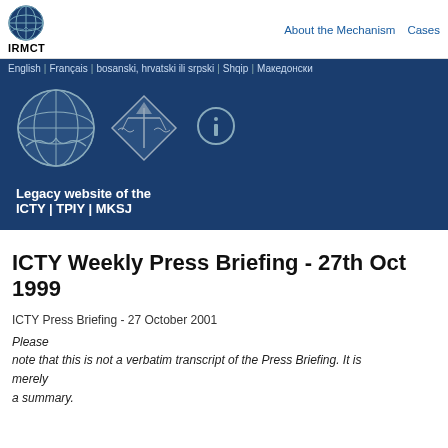IRMCT | About the Mechanism | Cases
[Figure (screenshot): IRMCT website header with UN globe logo, IRMCT text, and navigation links 'About the Mechanism' and 'Cases']
English | Français | bosanski, hrvatski ili srpski | Shqip | Македонски
[Figure (infographic): Dark blue banner with UN globe logo, IRMCT diamond scales logo, info icon, and text 'Legacy website of the ICTY | TPIY | MKSJ']
ICTY Weekly Press Briefing - 27th Oct 1999
ICTY Press Briefing - 27 October 2001
Please note that this is not a verbatim transcript of the Press Briefing. It is merely a summary.